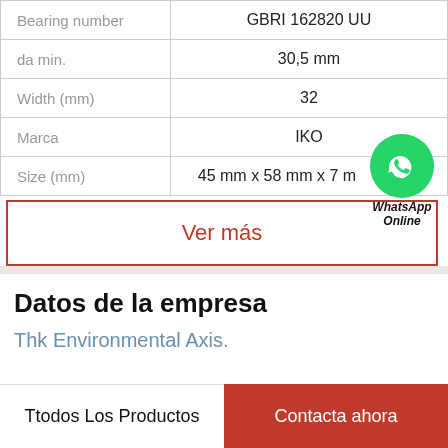|  |  |
| --- | --- |
| Bearing number | GBRI 162820 UU |
| da min. | 30,5 mm |
| Width (mm) | 32 |
| Marca | IKO |
| Size (mm) | 45 mm x 58 mm x 7 m |
[Figure (logo): WhatsApp green circle icon with phone handset, labeled 'WhatsApp Online' below in italic bold]
Ver más
Datos de la empresa
Thk Environmental Axis.
Ttodos Los Productos
Contacta ahora